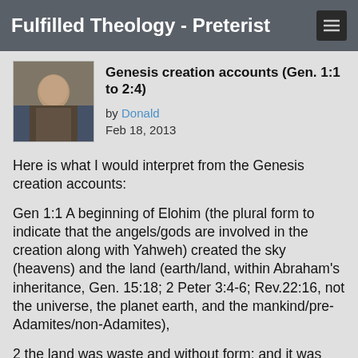Fulfilled Theology - Preterist
Genesis creation accounts (Gen. 1:1 to 2:4)
by Donald
Feb 18, 2013
Here is what I would interpret from the Genesis creation accounts:
Gen 1:1 A beginning of Elohim (the plural form to indicate that the angels/gods are involved in the creation along with Yahweh) created the sky (heavens) and the land (earth/land, within Abraham's inheritance, Gen. 15:18; 2 Peter 3:4-6; Rev.22:16, not the universe, the planet earth, and the mankind/pre-Adamites/non-Adamites),
2 the land was waste and without form; and it was dark on the face of the deep, and the spirit of God was moving on the face of the waters.